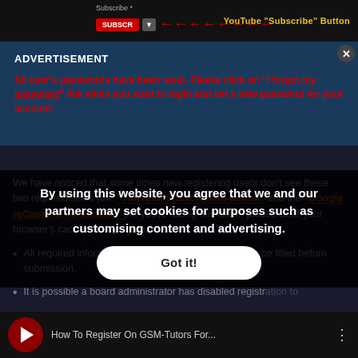[Figure (screenshot): Top bar showing YouTube Subscribe button UI with red arrow pointing to subscribe area and label 'YouTube "Subscribe" Button']
ADVERTISEMENT
All user's passwords have been reset. Please click on "I forgot my password" link when you want to login and set a new password for your account.
We have noticed that some times new registering users don't see these two required fields (the "YouTube Subscription button" and the "Google reCaptcha Verification"). If you're facing this issue, please clear your browser's cache and try again.
All required information on the registration page must be filled before submission.
It is possible a board administrator has disabled registration to
A board administrator could have also banned your IP address or disallow the username you are attempting to register.
By using this website, you agree that we and our partners may set cookies for purposes such as customising content and advertising.
Got it!
[Figure (screenshot): Bottom bar showing video thumbnail with red circle play button and title 'How To Register On GSM-Tutors For...']